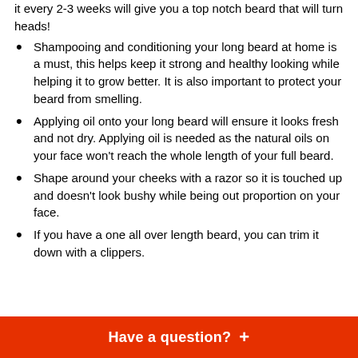it every 2-3 weeks will give you a top notch beard that will turn heads!
Shampooing and conditioning your long beard at home is a must, this helps keep it strong and healthy looking while helping it to grow better. It is also important to protect your beard from smelling.
Applying oil onto your long beard will ensure it looks fresh and not dry. Applying oil is needed as the natural oils on your face won't reach the whole length of your full beard.
Shape around your cheeks with a razor so it is touched up and doesn't look bushy while being out proportion on your face.
If you have a one all over length beard, you can trim it down with a clippers.
Have a question? +